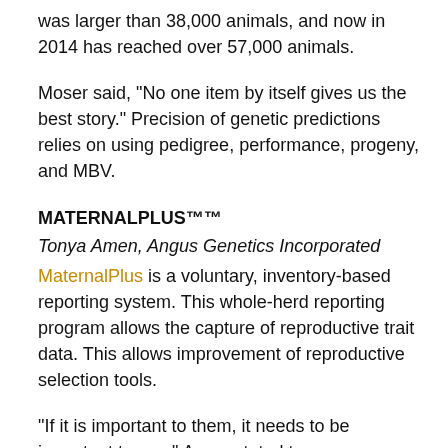was larger than 38,000 animals, and now in 2014 has reached over 57,000 animals.
Moser said, "No one item by itself gives us the best story." Precision of genetic predictions relies on using pedigree, performance, progeny, and MBV.
MATERNALPLUS™™
Tonya Amen, Angus Genetics Incorporated
MaternalPlus is a voluntary, inventory-based reporting system. This whole-herd reporting program allows the capture of reproductive trait data. This allows improvement of reproductive selection tools.
"If it is important to them, it needs to be important to you," Amen stated to encourage seedstock producers to keep the needs of their commercial customers in mind. While decreasing generation interval is important in a seedstock setting, longevity is vital in commercial operations. For each